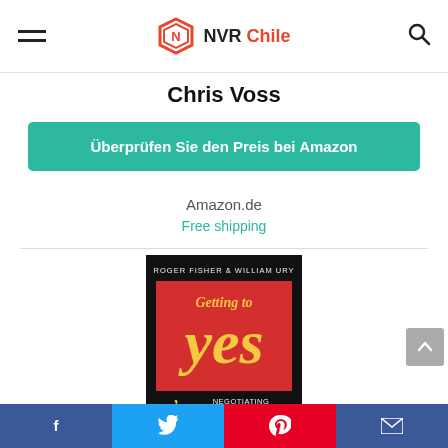NVR Chile
Chris Voss
Überprüfen Sie den Preis bei Amazon
Amazon.de
Free shipping
[Figure (photo): Book cover: Getting to Yes by Roger Fisher & William Ury. Negotiating Agreement Without Giving In. Black cover with red rectangle and yellow italic text.]
Social media links: Facebook, Twitter, Pinterest, Email